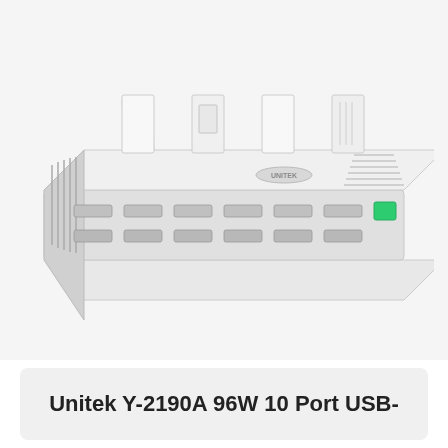[Figure (photo): White Unitek Y-2190A multi-port USB charging station with vertical device slots/dividers on top and multiple USB ports on the front face. The device is white with ventilation grilles on the sides and green-highlighted port on the right.]
Unitek Y-2190A 96W 10 Port USB-